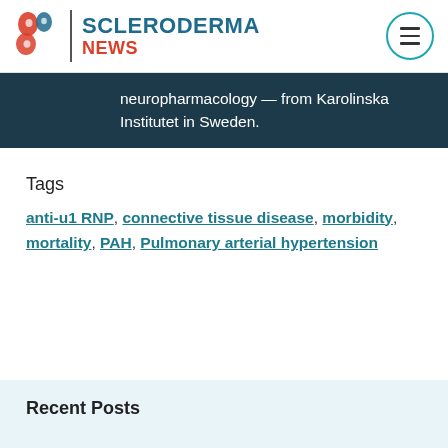[Figure (logo): Scleroderma News logo with red abstract icon, vertical divider, and text 'SCLERODERMA NEWS' in blue and red]
neuropharmacology — from Karolinska Institutet in Sweden.
Tags
anti-u1 RNP, connective tissue disease, morbidity, mortality, PAH, Pulmonary arterial hypertension
Recent Posts